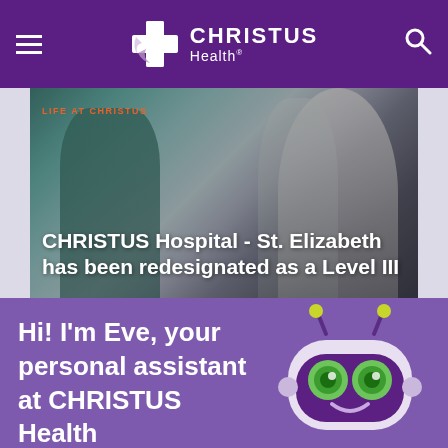CHRISTUS Health
[Figure (photo): Medical staff in scrubs and white coats gathered around a patient, with overlay text about CHRISTUS Hospital St. Elizabeth redesignation]
LIFE AT CHRISTUS
CHRISTUS Hospital - St. Elizabeth has been redesignated as a Level III
Hi! I'm Eve, your personal assistant at CHRISTUS Health
[Figure (illustration): Cartoon robot mascot named Eve with green eyes, purple body, and yellow antennae]